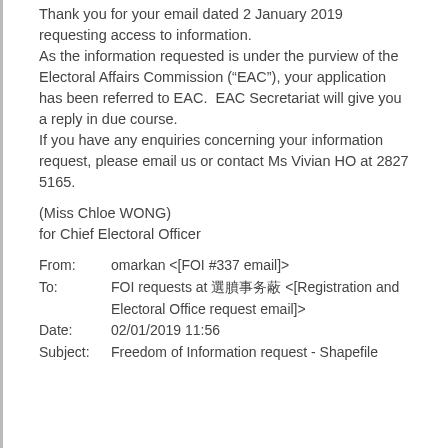Thank you for your email dated 2 January 2019 requesting access to information. As the information requested is under the purview of the Electoral Affairs Commission (“EAC”), your application has been referred to EAC. EAC Secretariat will give you a reply in due course. If you have any enquiries concerning your information request, please email us or contact Ms Vivian HO at 2827 5165.
(Miss Chloe WONG)
for Chief Electoral Officer
From:	omarkan <[FOI #337 email]>
To:	FOI requests at 選舉事務處 <[Registration and Electoral Office request email]>
Date:	02/01/2019 11:56
Subject:	Freedom of Information request - Shapefile